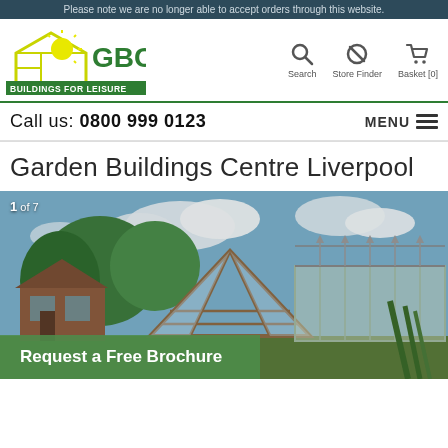Please note we are no longer able to accept orders through this website.
[Figure (logo): GBC Buildings for Leisure logo with green house outline and sun graphic]
Search   Store Finder   Basket [0]
Call us: 0800 999 0123
MENU
Garden Buildings Centre Liverpool
[Figure (photo): Outdoor garden buildings showroom with wooden framed greenhouse structures and a glass conservatory against a blue sky with clouds. Counter shows 1 of 7 images.]
Request a Free Brochure